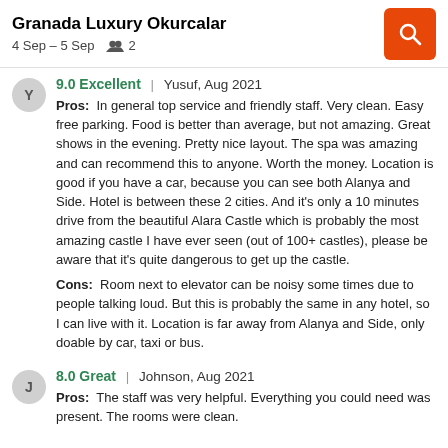Granada Luxury Okurcalar
4 Sep – 5 Sep   👥 2
9.0 Excellent | Yusuf, Aug 2021
Pros:  In general top service and friendly staff. Very clean. Easy free parking. Food is better than average, but not amazing. Great shows in the evening. Pretty nice layout. The spa was amazing and can recommend this to anyone. Worth the money. Location is good if you have a car, because you can see both Alanya and Side. Hotel is between these 2 cities. And it's only a 10 minutes drive from the beautiful Alara Castle which is probably the most amazing castle I have ever seen (out of 100+ castles), please be aware that it's quite dangerous to get up the castle.
Cons:  Room next to elevator can be noisy some times due to people talking loud. But this is probably the same in any hotel, so I can live with it. Location is far away from Alanya and Side, only doable by car, taxi or bus.
8.0 Great | Johnson, Aug 2021
Pros:  The staff was very helpful. Everything you could need was present. The rooms were clean.